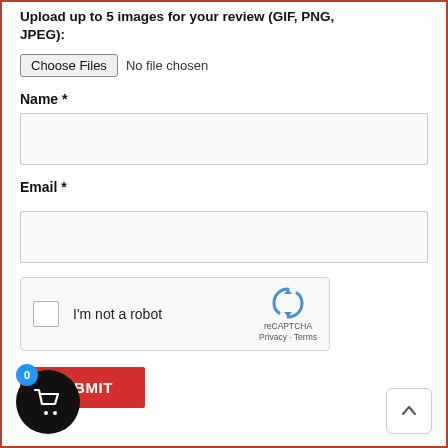Upload up to 5 images for your review (GIF, PNG, JPEG):
[Figure (screenshot): File input with 'Choose Files' button and 'No file chosen' text]
Name *
[Figure (screenshot): Empty text input field for Name]
Email *
[Figure (screenshot): Empty text input field for Email]
[Figure (screenshot): reCAPTCHA widget with checkbox 'I'm not a robot']
[Figure (screenshot): SUBMIT button in red]
[Figure (screenshot): Shopping cart button with 0 badge and scroll-to-top button]